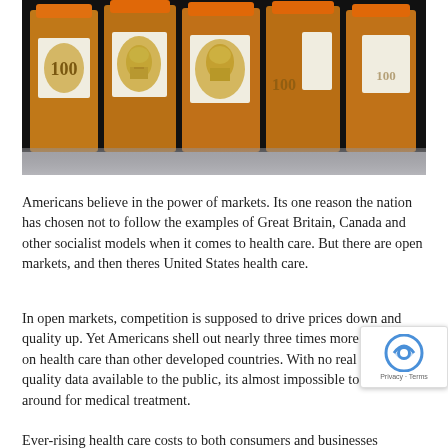[Figure (photo): Prescription pill bottles wrapped with $100 US dollar bills instead of labels, arranged in a row against a dark background. The bottles have orange caps and white label stickers.]
Americans believe in the power of markets. Its one reason the nation has chosen not to follow the examples of Great Britain, Canada and other socialist models when it comes to health care. But there are open markets, and then theres United States health care.
In open markets, competition is supposed to drive prices down and quality up. Yet Americans shell out nearly three times more per person on health care than other developed countries. With no real price and quality data available to the public, its almost impossible to shop around for medical treatment.
Ever-rising health care costs to both consumers and businesses